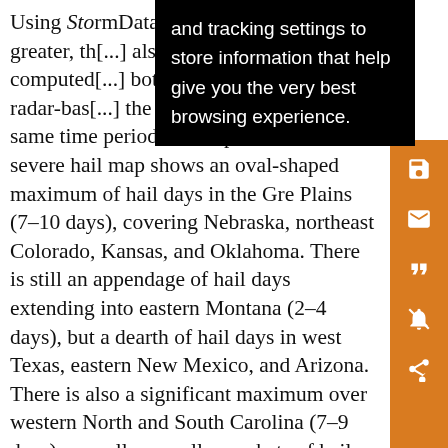Using Sto[rmData] or greater, the[...] also computed [...] both radar-bas[ed ...] the same time period. The reports-based severe hail map shows an oval-shaped maximum of hail days in the Great Plains (7–10 days), covering Nebraska, northeast Colorado, Kansas, and Oklahoma. There is still an appendage of hail days extending into eastern Montana (2–4 days), but a dearth of hail days in west Texas, eastern New Mexico, and Arizona. There is also a significant maximum over western North and South Carolina (7–9 days), as well as smaller pockets of hail days in Ohio (4 days), Mississippi (6 days), and southern New England and New York (5 days).
and tracking settings to store information that help give you the very best browsing experience.